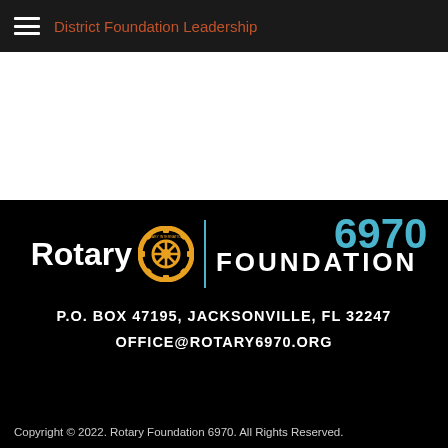District Foundation Leadership
[Figure (logo): Rotary International gear/wheel logo in gold/orange with text 'Rotary FOUNDATION 6970' on black background]
P.O. BOX 47195,  JACKSONVILLE, FL 32247
OFFICE@ROTARY6970.ORG
Copyright © 2022. Rotary Foundation 6970. All Rights Reserved.